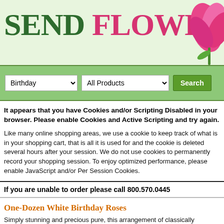SEND FLOWERS TODAY
[Figure (screenshot): Website header banner with text SEND FLOWERS TODAY on a light green background with a pink tulip flower in the top right corner]
[Figure (screenshot): Search bar with Birthday dropdown, All Products dropdown, and a green Search button on a green background]
It appears that you have Cookies and/or Scripting Disabled in your browser. Please enable Cookies and Active Scripting and try again.
Like many online shopping areas, we use a cookie to keep track of what is in your shopping cart, that is all it is used for and the cookie is deleted several hours after your session. We do not use cookies to permanently record your shopping session. To enjoy optimized performance, please enable JavaScript and/or Per Session Cookies.
If you are unable to order please call 800.570.0445
One-Dozen White Birthday Roses
Simply stunning and precious pure, this arrangement of classically elegant white roses shines with Nature's beauty and grace. Each dozen...